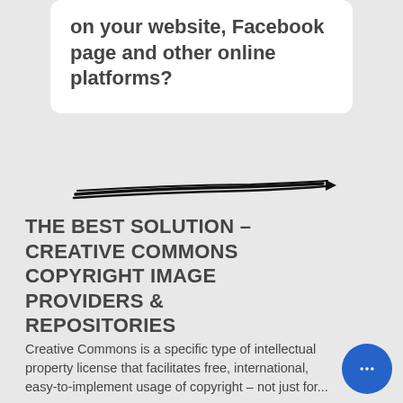on your website, Facebook page and other online platforms?
[Figure (illustration): Hand-drawn black arrow/underline divider stroke]
THE BEST SOLUTION – CREATIVE COMMONS COPYRIGHT IMAGE PROVIDERS & REPOSITORIES
Creative Commons is a specific type of intellectual property license that facilitates free, international, easy-to-implement usage of copyright – not just for...